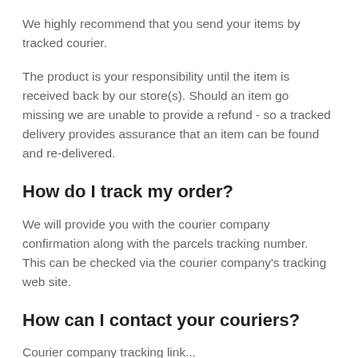We highly recommend that you send your items by tracked courier.
The product is your responsibility until the item is received back by our store(s). Should an item go missing we are unable to provide a refund - so a tracked delivery provides assurance that an item can be found and re-delivered.
How do I track my order?
We will provide you with the courier company confirmation along with the parcels tracking number. This can be checked via the courier company's tracking web site.
How can I contact your couriers?
Courier company tracking link...